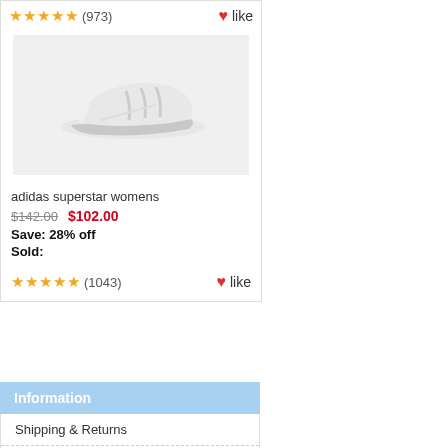★★★★★ (973) ❤ like
[Figure (photo): White Adidas Superstar women's sneaker on a light gray background]
adidas superstar womens
$142.00  $102.00
Save: 28% off
Sold:
★★★★★ (1043) ❤ like
Information
Shipping & Returns
Privacy Notice
F.A.Q
Contact Us